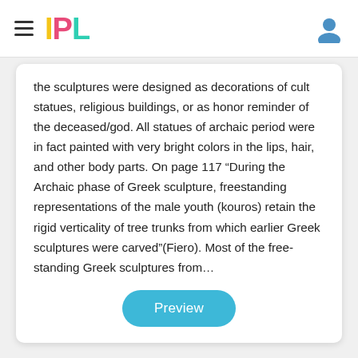IPL
the sculptures were designed as decorations of cult statues, religious buildings, or as honor reminder of the deceased/god. All statues of archaic period were in fact painted with very bright colors in the lips, hair, and other body parts. On page 117 “During the Archaic phase of Greek sculpture, freestanding representations of the male youth (kouros) retain the rigid verticality of tree trunks from which earlier Greek sculptures were carved”(Fiero). Most of the free-standing Greek sculptures from…
Preview